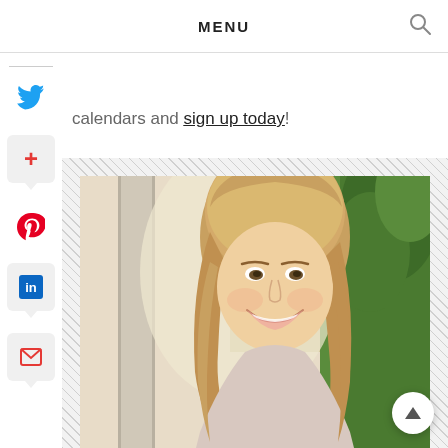MENU
calendars and sign up today!
[Figure (photo): Smiling young woman with long blonde hair, photographed outdoors near a pillar with greenery in background]
[Figure (infographic): Social sharing sidebar with Twitter, Google+, Pinterest, LinkedIn, and email icons]